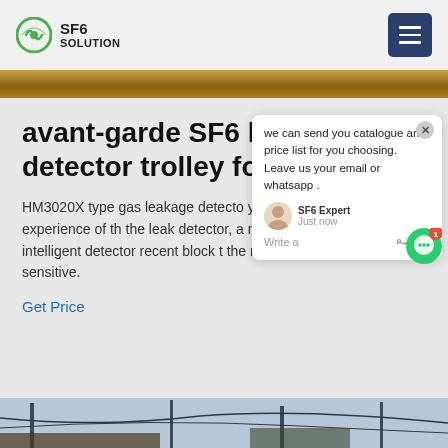SF6 SOLUTION
avant-garde SF6 leakge detector trolley for sale
HM3020X type gas leakage detector years of production experience of the leak detector, a new generation intelligent detector recent block t the most stable and sensitive.
Get Price
[Figure (screenshot): Chat popup overlay with message: 'we can send you catalogue and price list for you choosing. Leave us your email or whatsapp.' SF6 Expert just now. Write a message area with thumbs up and paperclip icons.]
[Figure (photo): Bottom image strip showing electrical substation or industrial equipment with pylons and cables.]